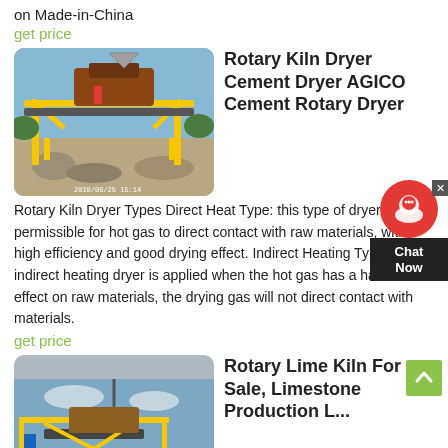on Made-in-China
get price
[Figure (photo): Yellow industrial crusher/conveyor machinery on a construction site, timestamp 2010/08/25 15:14]
Rotary Kiln Dryer Cement Dryer AGICO Cement Rotary Dryer
Rotary Kiln Dryer Types Direct Heat Type: this type of dryer is permissible for hot gas to direct contact with raw materials, with high efficiency and good drying effect. Indirect Heating Type: the indirect heating dryer is applied when the hot gas has a harmful effect on raw materials, the drying gas will not direct contact with materials.
get price
[Figure (photo): Yellow industrial conveyor/kiln machinery with crane against cloudy sky]
Rotary Lime Kiln For Sale, Limestone Production L...